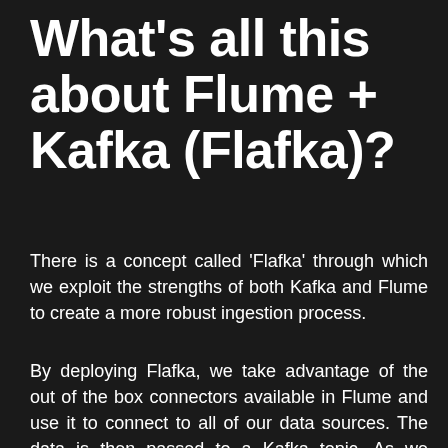What's all this about Flume + Kafka (Flafka)?
There is a concept called 'Flafka' through which we exploit the strengths of both Kafka and Flume to create a more robust ingestion process.
By deploying Flafka, we take advantage of the out of the box connectors available in Flume and use it to connect to all of our data sources. The data is then passed to a Kafka topic. As we discussed earlier,